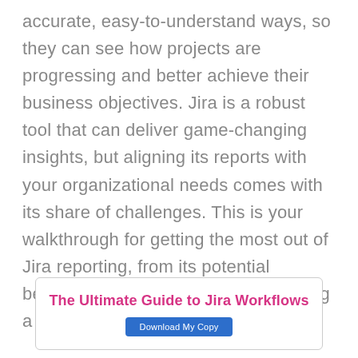accurate, easy-to-understand ways, so they can see how projects are progressing and better achieve their business objectives. Jira is a robust tool that can deliver game-changing insights, but aligning its reports with your organizational needs comes with its share of challenges. This is your walkthrough for getting the most out of Jira reporting, from its potential benefits to generating and customizing a wide variety of reports.
[Figure (other): Call-to-action box with title 'The Ultimate Guide to Jira Workflows' and a blue 'Download My Copy' button]